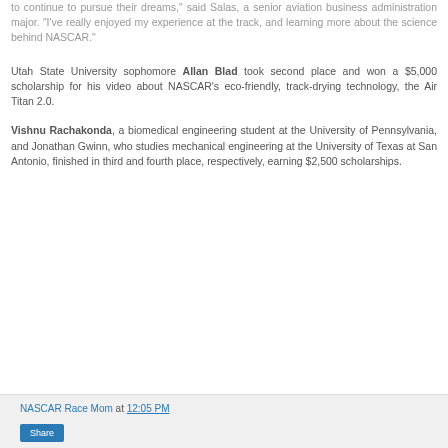to continue to pursue their dreams," said Salas, a senior aviation business administration major. "I've really enjoyed my experience at the track, and learning more about the science behind NASCAR."
Utah State University sophomore Allan Blad took second place and won a $5,000 scholarship for his video about NASCAR's eco-friendly, track-drying technology, the Air Titan 2.0.
Vishnu Rachakonda, a biomedical engineering student at the University of Pennsylvania, and Jonathan Gwinn, who studies mechanical engineering at the University of Texas at San Antonio, finished in third and fourth place, respectively, earning $2,500 scholarships.
NASCAR Race Mom at 12:05 PM